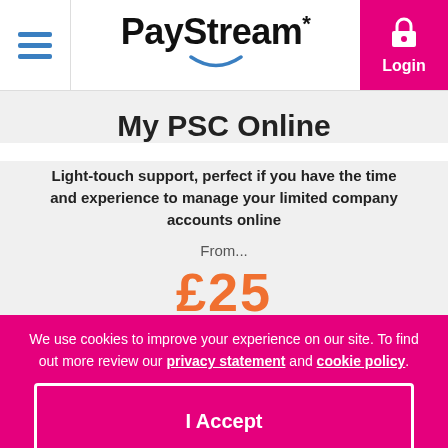PayStream* — Login
My PSC Online
Light-touch support, perfect if you have the time and experience to manage your limited company accounts online
From...
We use cookies to improve your experience on our site. To find out more review our privacy statement and cookie policy.
I Accept